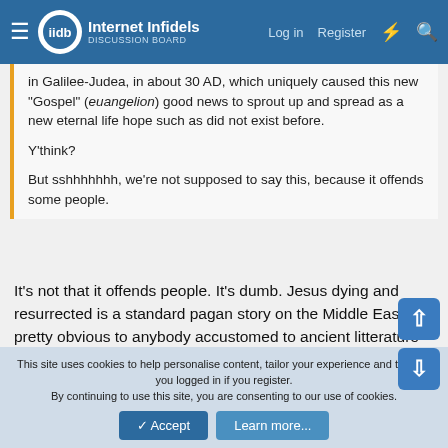Internet Infidels — Log in  Register
in Galilee-Judea, in about 30 AD, which uniquely caused this new "Gospel" (euangelion) good news to sprout up and spread as a new eternal life hope such as did not exist before.

Y'think?

But sshhhhhhh, we're not supposed to say this, because it offends some people.
It's not that it offends people. It's dumb. Jesus dying and resurrected is a standard pagan story on the Middle East. It's pretty obvious to anybody accustomed to ancient litterature that everything supernatutal attributed to Jesus is traditional pagan stories to prove that Jesus was the son of a god. In paganism anybody who did anything extraordinary is explained by them
This site uses cookies to help personalise content, tailor your experience and to keep you logged in if you register.
By continuing to use this site, you are consenting to our use of cookies.